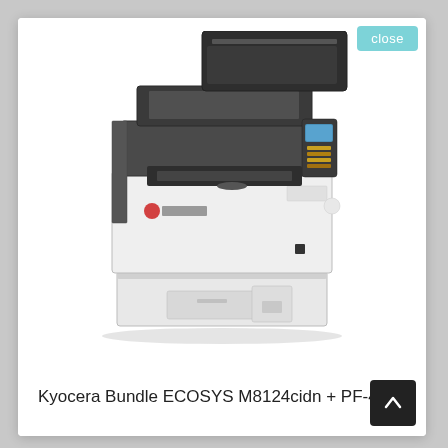[Figure (photo): Kyocera ECOSYS M8124cidn multifunction printer with PF-470 paper feeder attachment. The printer is white and dark gray/black, shown at a slight angle. It has a document feeder on top, a control panel with a color display, and multiple paper trays including a large capacity paper feeder at the bottom.]
close
Kyocera Bundle ECOSYS M8124cidn + PF-470